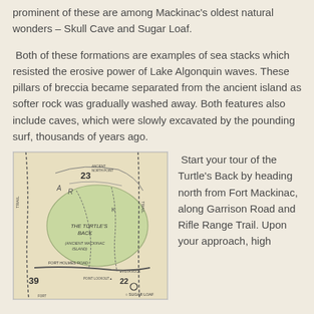prominent of these are among Mackinac's oldest natural wonders – Skull Cave and Sugar Loaf.
Both of these formations are examples of sea stacks which resisted the erosive power of Lake Algonquin waves. These pillars of breccia became separated from the ancient island as softer rock was gradually washed away. Both features also include caves, which were slowly excavated by the pounding surf, thousands of years ago.
[Figure (map): Historical map showing The Turtle's Back (Ancient Mackinac Island) area with trails, roads, numbered points of interest (23, 39, 22), Sugar Loaf, Vista Rock, Point Lookout, Fort Holmes Road, and surrounding trail paths.]
Start your tour of the Turtle's Back by heading north from Fort Mackinac, along Garrison Road and Rifle Range Trail. Upon your approach, high